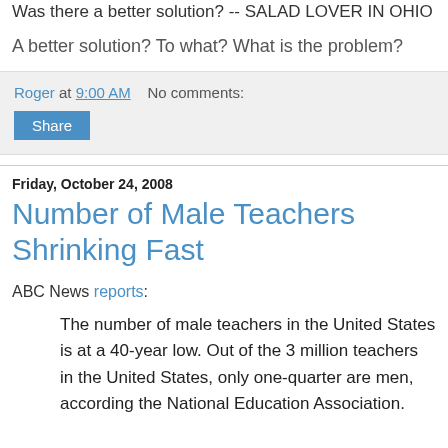Was there a better solution? -- SALAD LOVER IN OHIO
A better solution? To what? What is the problem?
Roger at 9:00 AM    No comments:
Share
Friday, October 24, 2008
Number of Male Teachers Shrinking Fast
ABC News reports:
The number of male teachers in the United States is at a 40-year low. Out of the 3 million teachers in the United States, only one-quarter are men, according the National Education Association.